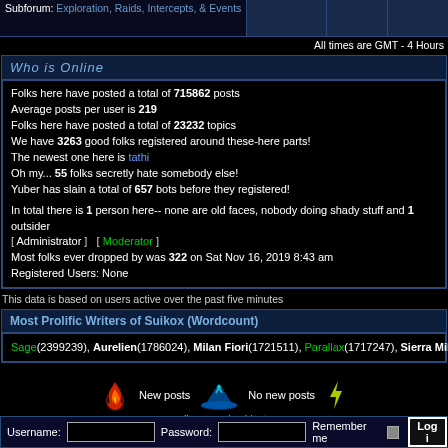Subforum: Exploration, Raids, Intercepts, & Events
All times are GMT - 4 Hours
Who is Online
Folks here have posted a total of 715862 posts
Average posts per user is 219
Folks here have posted a total of 23232 topics
We have 3263 good folks registered around these-here parts!
The newest one here is tathi
Oh my... 55 folks secretly hate somebody else!
Yuber has slain a total of 657 bots before they registered!

In total there is 1 person here-- none are old faces, nobody doing shady stuff and 1 outsider
[ Administrator ]   [ Moderator ]
Most folks ever dropped by was 322 on Sat Nov 16, 2019 8:43 am
Registered Users: None
This data is based on users active over the past five minutes
Most Prolific Writers of Suikox (Wordcount)
Sage(2399239), Aurelien(1786024), Milan Fiori(1721511), Parallax(1717247), Sierra Mikain(1686347), Cedric(1528685), RedCydranth(1484570), Dew Dust(1452466), Decado(1419951), Exile(1186223)
New posts   No new posts
suikox.com by: Vextor
Powered by phpBB © 2001, 2005 phpBB Group
Username:  Password:  Remember me  Log in